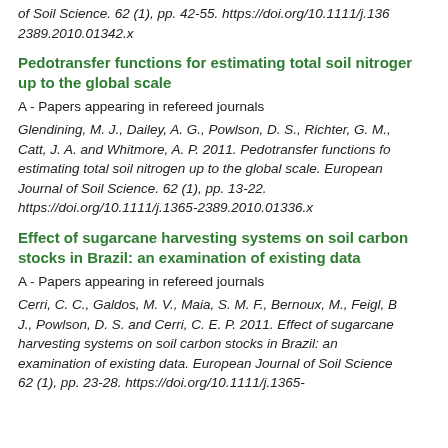of Soil Science. 62 (1), pp. 42-55. https://doi.org/10.1111/j.1365-2389.2010.01342.x
Pedotransfer functions for estimating total soil nitrogen up to the global scale
A - Papers appearing in refereed journals
Glendining, M. J., Dailey, A. G., Powlson, D. S., Richter, G. M., Catt, J. A. and Whitmore, A. P. 2011. Pedotransfer functions for estimating total soil nitrogen up to the global scale. European Journal of Soil Science. 62 (1), pp. 13-22. https://doi.org/10.1111/j.1365-2389.2010.01336.x
Effect of sugarcane harvesting systems on soil carbon stocks in Brazil: an examination of existing data
A - Papers appearing in refereed journals
Cerri, C. C., Galdos, M. V., Maia, S. M. F., Bernoux, M., Feigl, B. J., Powlson, D. S. and Cerri, C. E. P. 2011. Effect of sugarcane harvesting systems on soil carbon stocks in Brazil: an examination of existing data. European Journal of Soil Science. 62 (1), pp. 23-28. https://doi.org/10.1111/j.1365-